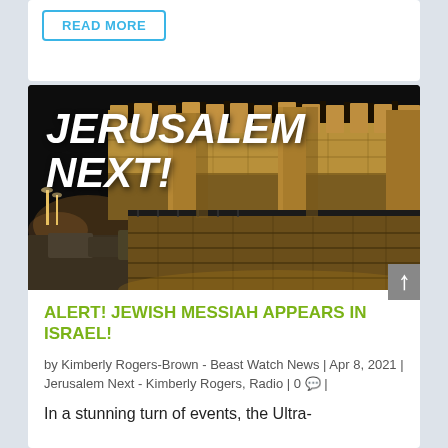READ MORE
[Figure (photo): Night photograph of the ancient stone walls of Jerusalem, illuminated by warm yellow-orange lights against a dark sky, with text overlay reading JERUSALEM NEXT! in large white bold italic font]
ALERT! JEWISH MESSIAH APPEARS IN ISRAEL!
by Kimberly Rogers-Brown - Beast Watch News | Apr 8, 2021 | Jerusalem Next - Kimberly Rogers, Radio | 0 |
In a stunning turn of events, the Ultra-